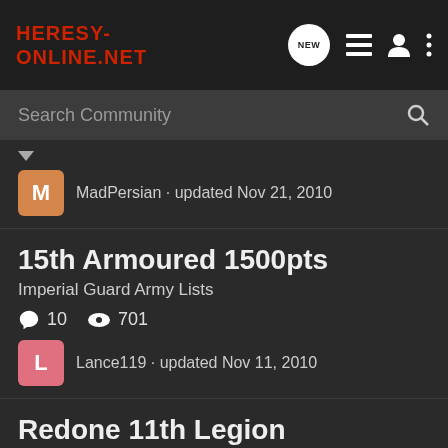Heresy-Online.net
Search Community
MadPersian · updated Nov 21, 2010
15th Armoured 1500pts
Imperial Guard Army Lists
10   701
Lance119 · updated Nov 11, 2010
Redone 11th Legion
Space Marine Army Lists
10   791
Ordo Xeno Commander · updated Jan 10, 2009